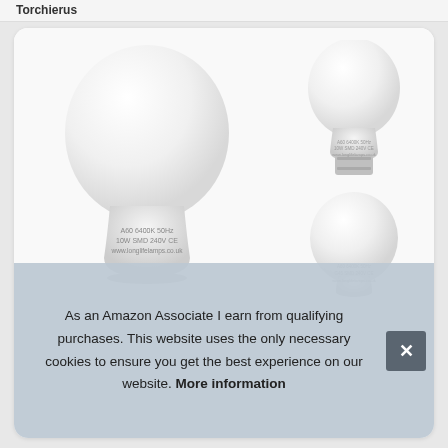Torchierus
[Figure (photo): Product photo showing three LED light bulbs: one large A60 6400K 50Hz 10W SMD 240V bulb on the left, one smaller A60 bulb with bayonet cap (top right), and one small round globe bulb (bottom right). All bulbs are white/frosted. Text on large bulb reads: A60 6400K 50Hz 10W SMD 240V CE www.longlifelamps.co.uk]
As an Amazon Associate I earn from qualifying purchases. This website uses the only necessary cookies to ensure you get the best experience on our website. More information